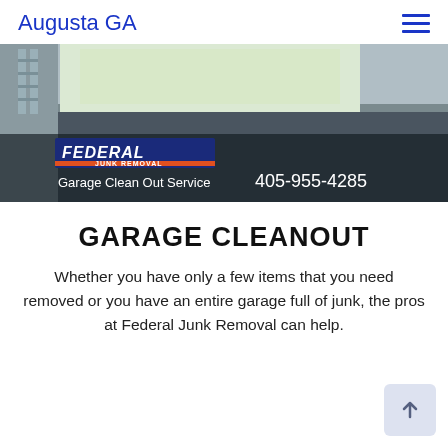Augusta GA
[Figure (photo): Federal Junk Removal banner image showing a clean garage interior with dark epoxy floor, open garage door revealing outdoor light. Text overlay reads: FEDERAL JUNK REMOVAL, Garage Clean Out Service, 405-955-4285]
GARAGE CLEANOUT
Whether you have only a few items that you need removed or you have an entire garage full of junk, the pros at Federal Junk Removal can help.